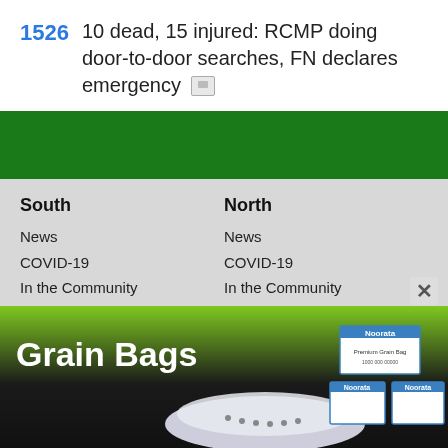1526  10 dead, 15 injured: RCMP doing door-to-door searches, FN declares emergency
South
News
COVID-19
In the Community
Provincial News
National News
World News
Local Business
North
News
COVID-19
In the Community
Provincial News
National News
World News
Agriculture News
[Figure (photo): Advertisement banner for Grain Bags by Noorata showing a large grain bag and product boxes]